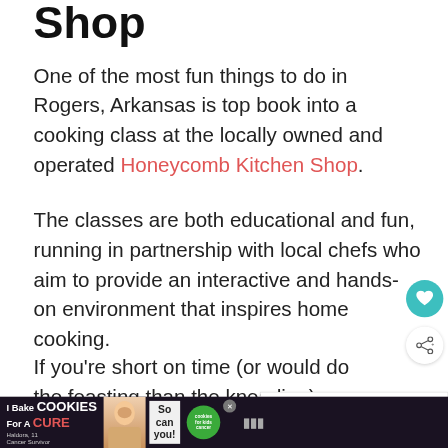Shop
One of the most fun things to do in Rogers, Arkansas is top book into a cooking class at the locally owned and operated Honeycomb Kitchen Shop.
The classes are both educational and fun, running in partnership with local chefs who aim to provide an interactive and hands-on environment that inspires home cooking.
If you're short on time (or would do the feasting than the kneading), pop
[Figure (other): Floating heart save button (teal circle with heart icon)]
[Figure (other): Share button (white circle with share icon)]
[Figure (other): What's Next panel showing '41 Unique Boat...' with thumbnail]
[Figure (other): Advertisement banner: I Bake COOKIES For A CURE - So can you! with cookies for kids cancer logo]